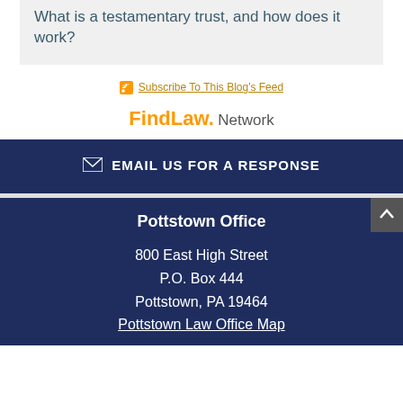What is a testamentary trust, and how does it work?
Subscribe To This Blog's Feed
[Figure (logo): FindLaw Network logo]
EMAIL US FOR A RESPONSE
Pottstown Office
800 East High Street
P.O. Box 444
Pottstown, PA 19464
Pottstown Law Office Map